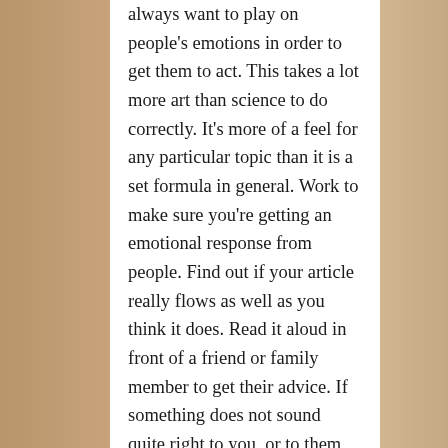always want to play on people's emotions in order to get them to act. This takes a lot more art than science to do correctly. It's more of a feel for any particular topic than it is a set formula in general. Work to make sure you're getting an emotional response from people. Find out if your article really flows as well as you think it does. Read it aloud in front of a friend or family member to get their advice. If something does not sound quite right to you, or to them, you may need to change it up a little bit. If you're writing for someone else's blog, make sure that you're still working within the respective market. If you're trying to sell weight-loss products, it's not the best idea to advertize your site on a software blog